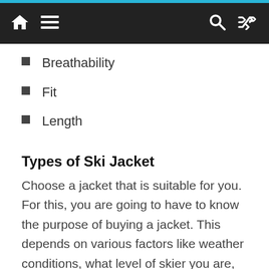Navigation bar with home, menu, search, and shuffle icons
Breathability
Fit
Length
Types of Ski Jacket
Choose a jacket that is suitable for you. For this, you are going to have to know the purpose of buying a jacket. This depends on various factors like weather conditions, what level of skier you are, how often you feel cool or heat. There are several ski jackets available to suit your demand like an insulated jacket for all those who feel cold easily, a 3 in 1 waterproof ski jackets and many